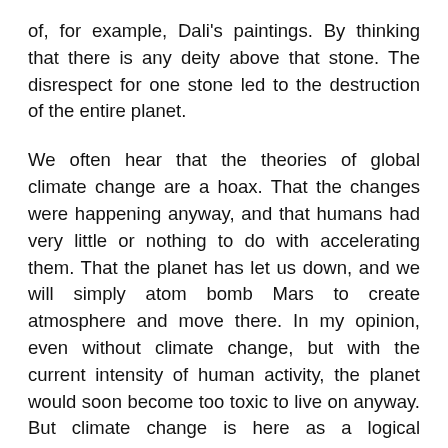of, for example, Dali's paintings. By thinking that there is any deity above that stone. The disrespect for one stone led to the destruction of the entire planet.
We often hear that the theories of global climate change are a hoax. That the changes were happening anyway, and that humans had very little or nothing to do with accelerating them. That the planet has let us down, and we will simply atom bomb Mars to create atmosphere and move there. In my opinion, even without climate change, but with the current intensity of human activity, the planet would soon become too toxic to live on anyway. But climate change is here as a logical consequence of our toxic behaviour, and it will shorten our time to develop immunity to our own toxins, making our extinction (or, at least, that of most of us) quite evident. Unfortunately, with us and because of us, even the innocent species like elephants and cows will disappear. Furthermore, those who talk about human innocence in breaking the first tenet of natural law